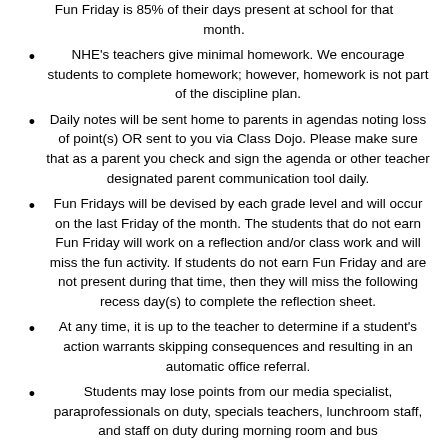Fun Friday is 85% of their days present at school for that month.
NHE's teachers give minimal homework. We encourage students to complete homework; however, homework is not part of the discipline plan.
Daily notes will be sent home to parents in agendas noting loss of point(s) OR sent to you via Class Dojo. Please make sure that as a parent you check and sign the agenda or other teacher designated parent communication tool daily.
Fun Fridays will be devised by each grade level and will occur on the last Friday of the month. The students that do not earn Fun Friday will work on a reflection and/or class work and will miss the fun activity. If students do not earn Fun Friday and are not present during that time, then they will miss the following recess day(s) to complete the reflection sheet.
At any time, it is up to the teacher to determine if a student's action warrants skipping consequences and resulting in an automatic office referral.
Students may lose points from our media specialist, paraprofessionals on duty, specials teachers, lunchroom staff, and staff on duty during morning room and bus